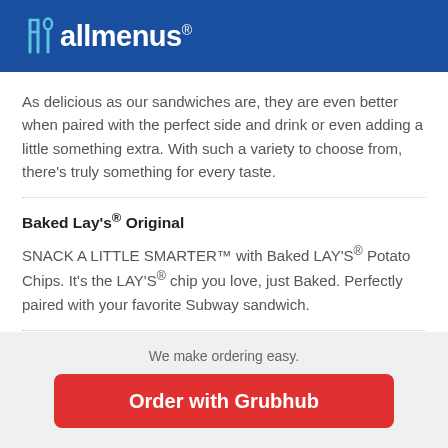allmenus®
As delicious as our sandwiches are, they are even better when paired with the perfect side and drink or even adding a little something extra. With such a variety to choose from, there's truly something for every taste.
Baked Lay's® Original
SNACK A LITTLE SMARTER™ with Baked LAY'S® Potato Chips. It's the LAY'S® chip you love, just Baked. Perfectly paired with your favorite Subway sandwich.
We make ordering easy.
Order with Grubhub